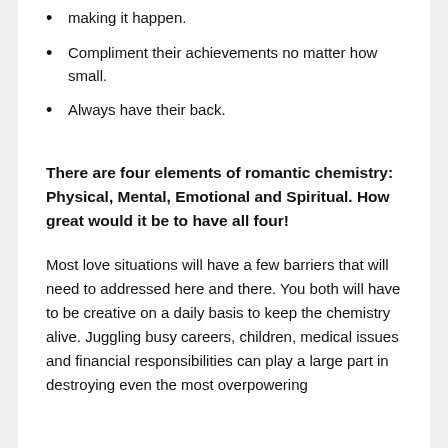making it happen.
Compliment their achievements no matter how small.
Always have their back.
There are four elements of romantic chemistry: Physical, Mental, Emotional and Spiritual. How great would it be to have all four!
Most love situations will have a few barriers that will need to addressed here and there. You both will have to be creative on a daily basis to keep the chemistry alive. Juggling busy careers, children, medical issues and financial responsibilities can play a large part in destroying even the most overpowering